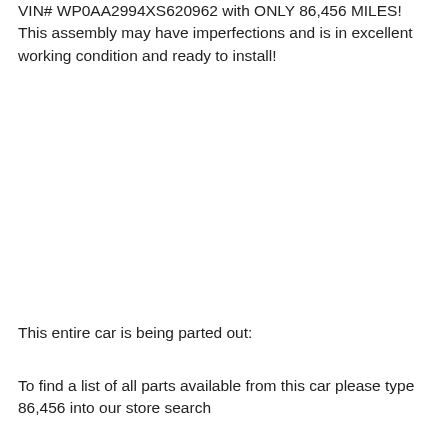VIN# WP0AA2994XS620962 with ONLY 86,456 MILES! This assembly may have imperfections and is in excellent working condition and ready to install!
This entire car is being parted out:
To find a list of all parts available from this car please type 86,456 into our store search